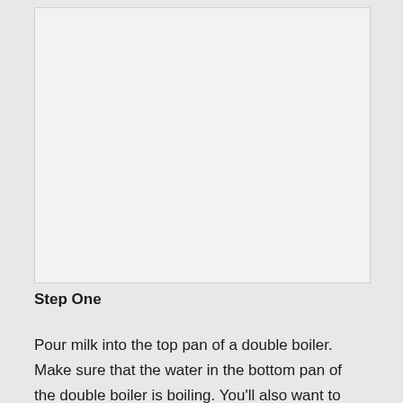[Figure (photo): Large image placeholder area showing a light gray rectangle, likely a photograph of a cooking-related subject.]
Step One
Pour milk into the top pan of a double boiler. Make sure that the water in the bottom pan of the double boiler is boiling. You'll also want to monitor the water